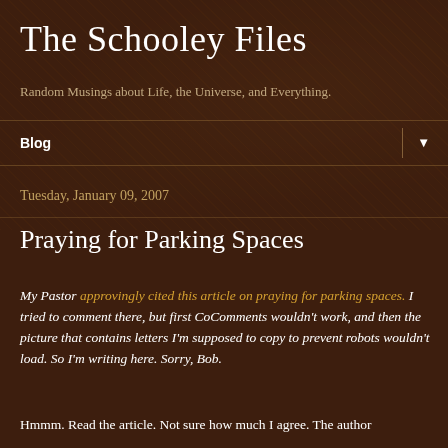The Schooley Files
Random Musings about Life, the Universe, and Everything.
Blog ▼
Tuesday, January 09, 2007
Praying for Parking Spaces
My Pastor approvingly cited this article on praying for parking spaces. I tried to comment there, but first CoComments wouldn't work, and then the picture that contains letters I'm supposed to copy to prevent robots wouldn't load. So I'm writing here. Sorry, Bob.
Hmmm. Read the article. Not sure how much I agree. The author